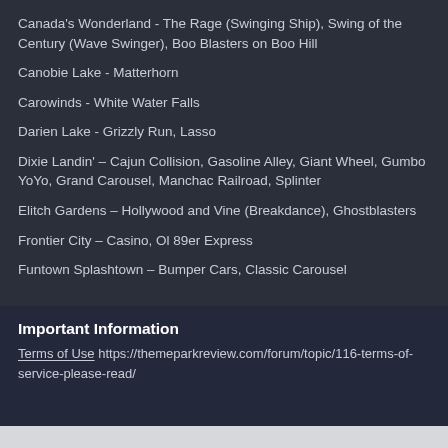Canada's Wonderland - The Rage (Swinging Ship), Swing of the Century (Wave Swinger), Boo Blasters on Boo Hill
Canobie Lake - Matterhorn
Carowinds - White Water Falls
Darien Lake - Grizzly Run, Lasso
Dixie Landin' – Cajun Collision, Gasoline Alley, Giant Wheel, Gumbo YoYo, Grand Carousel, Manchac Railroad, Splinter
Elitch Gardens – Hollywood and Vine (Breakdance), Ghostblasters
Frontier City – Casino, Ol 89er Express
Funtown Splashtown – Bumper Cars, Classic Carousel
Important Information
Terms of Use https://themeparkreview.com/forum/topic/116-terms-of-service-please-read/
✔  I accept